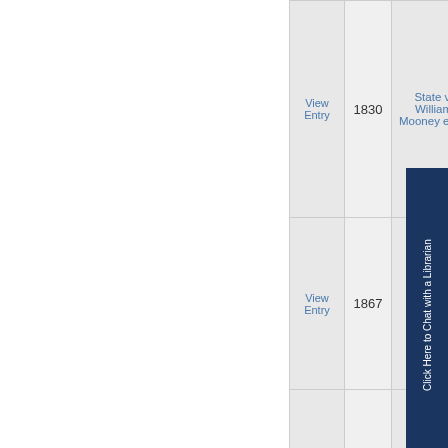|  | Year | Case Name |
| --- | --- | --- |
| View Entry | 1830 | State v. William Mooney et al. |
| View Entry | 1867 | State v. William Bingham |
| View Entry | 1868 | State v. Lucin M. Temple |